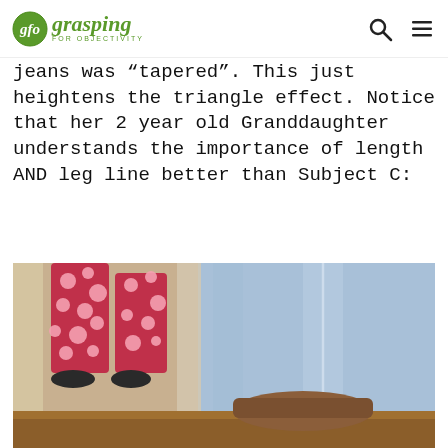gfo grasping FOR OBJECTIVITY
jeans was "tapered". This just heightens the triangle effect. Notice that her 2 year old Granddaughter understands the importance of length AND leg line better than Subject C:
[Figure (photo): Photo showing two pairs of legs/feet: on the left, a child's legs in colorful polka-dot pants with small shoes, and on the right, an adult's legs in light blue jeans with a brown shoe visible, standing on carpeted stairs with wooden step edge visible.]